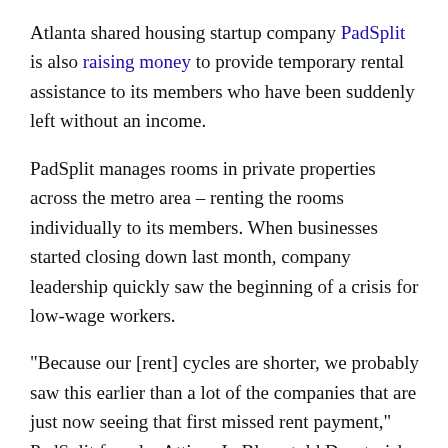Atlanta shared housing startup company PadSplit is also raising money to provide temporary rental assistance to its members who have been suddenly left without an income.
PadSplit manages rooms in private properties across the metro area – renting the rooms individually to its members. When businesses started closing down last month, company leadership quickly saw the beginning of a crisis for low-wage workers.
"Because our [rent] cycles are shorter, we probably saw this earlier than a lot of the companies that are just now seeing that first missed rent payment," PadSplit founder Atticus LeBlanc told Decaturish.
[adsanity id="59106" align="alignleft" /] [adsanity id="59208"